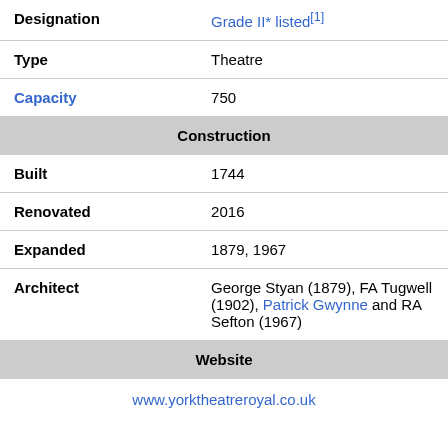| Designation | Grade II* listed[1] |
| Type | Theatre |
| Capacity | 750 |
| Construction |  |
| Built | 1744 |
| Renovated | 2016 |
| Expanded | 1879, 1967 |
| Architect | George Styan (1879), FA Tugwell (1902), Patrick Gwynne and RA Sefton (1967) |
| Website |  |
|  | www.yorktheatreroyal.co.uk |